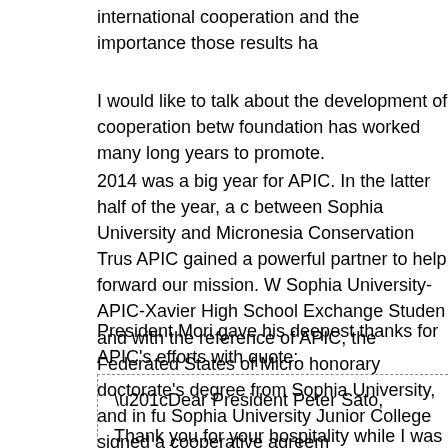international cooperation and the importance those results ha
I would like to talk about the development of cooperation betw foundation has worked many long years to promote.
2014 was a big year for APIC. In the latter half of the year, a c between Sophia University and Micronesia Conservation Trus APIC gained a powerful partner to help forward our mission. W Sophia University-APIC-Xavier High School Exchange Studen and with the reference of APIC, the Federated States of Micro honorary doctorate's degree from Sophia University, and in fu Sophia University Junior College signed a cooperative agreem
President Mori gave his deepest thanks for APIC's efforts with quote:
“Dear President Peter Sato,

Thank you for your hospitality while I was visiting Japan las of you.

(Abbreviated)